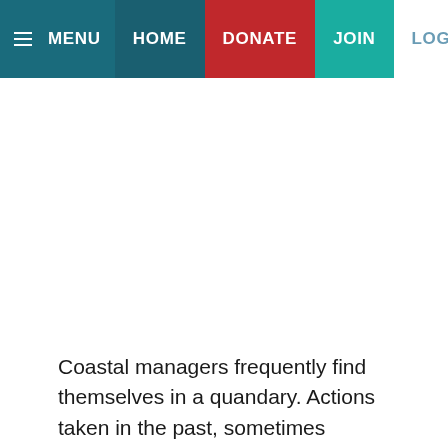MENU  HOME  DONATE  JOIN  LOGIN
Coastal managers frequently find themselves in a quandary. Actions taken in the past, sometimes legally sometimes not, have left behind legacies which today are noted for adverse effects. In a world of increased